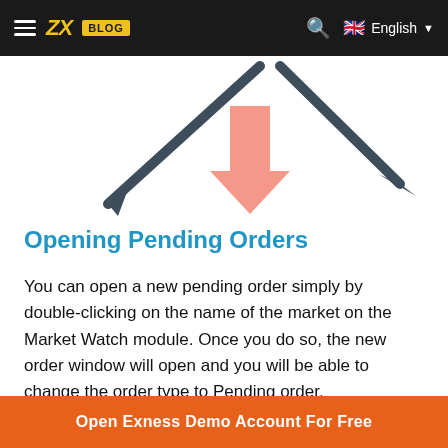ZX BLOG | English
[Figure (illustration): Diagram showing two dark gray arrows pointing downward-left and downward-right from a peak, with a pink/salmon downward arrow in the center, against a white background — illustrating market movement directions.]
Opening Pending Orders
You can open a new pending order simply by double-clicking on the name of the market on the Market Watch module. Once you do so, the new order window will open and you will be able to change the order type to Pending order.
[Figure (screenshot): Partial screenshot of a trading Order dialog window showing GBPUSD symbol, Great Britain Pound vs US Dollar, Volume 1.00, and a price chart area with value 1.24397.]
Open Exness Demo Account For Free